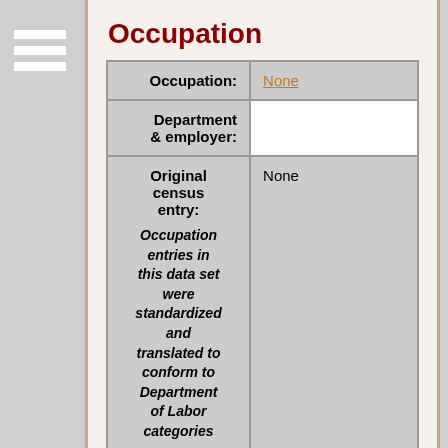Occupation
| Occupation: | None |
| Department & employer: |  |
| Original census entry:

Occupation entries in this data set were standardized and translated to conform to Department of Labor categories | None |